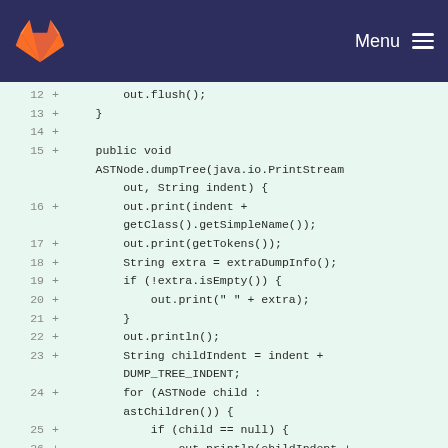GitLab — Menu
[Figure (screenshot): Code diff view showing Java code lines 12-26, with green background indicating added lines marked with + signs. Lines show ASTNode.dumpTree method implementation.]